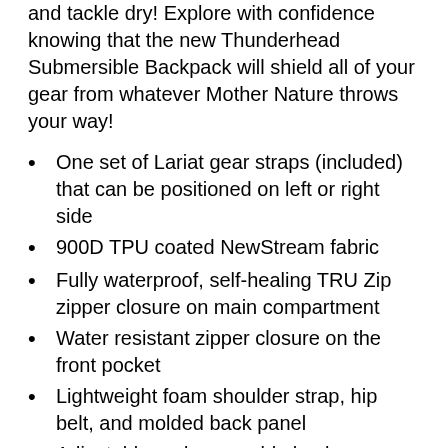and tackle dry! Explore with confidence knowing that the new Thunderhead Submersible Backpack will shield all of your gear from whatever Mother Nature throws your way!
One set of Lariat gear straps (included) that can be positioned on left or right side
900D TPU coated NewStream fabric
Fully waterproof, self-healing TRU Zip zipper closure on main compartment
Water resistant zipper closure on the front pocket
Lightweight foam shoulder strap, hip belt, and molded back panel
Adjustable and removable lumbar support strap
Coated webbing daisy chain, d-ring, and four-way attachments on back panel for various accessories including the Thunderhead Submersible Pouch.
Hypalon attachment points on shoulder straps for two-way radios or GPS systems
Interior organization with removable zippered pocket